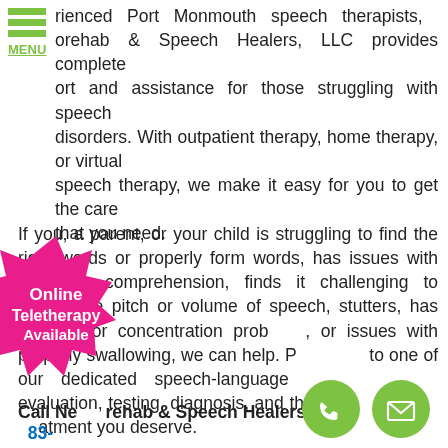MENU
rienced Port Monmouth speech therapists, orehab & Speech Healers, LLC provides complete ort and assistance for those struggling with speech disorders. With outpatient therapy, home therapy, or virtual speech therapy, we make it easy for you to get the care that you need.
If you, a parent, or your child is struggling to find the right words or properly form words, has issues with language comprehension, finds it challenging to control the pitch or volume of speech, stutters, has memory or concentration problems, or issues with properly swallowing, we can help. Reach out to one of our dedicated speech-language pathologists for evaluation, testing, diagnosis, and the comprehensive treatment you deserve.
[Figure (infographic): Pink starburst badge with text 'Online Teletherapy Available' in white bold font]
[Figure (infographic): Green circle phone icon button]
[Figure (infographic): Green circle mail/envelope icon button]
Call Neurorehab & Speech Healers, LLC at (73__83-